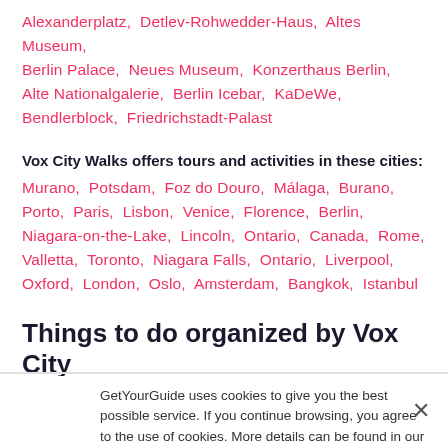Alexanderplatz, Detlev-Rohwedder-Haus, Altes Museum, Berlin Palace, Neues Museum, Konzerthaus Berlin, Alte Nationalgalerie, Berlin Icebar, KaDeWe, Bendlerblock, Friedrichstadt-Palast
Vox City Walks offers tours and activities in these cities: Murano, Potsdam, Foz do Douro, Málaga, Burano, Porto, Paris, Lisbon, Venice, Florence, Berlin, Niagara-on-the-Lake, Lincoln, Ontario, Canada, Rome, Valletta, Toronto, Niagara Falls, Ontario, Liverpool, Oxford, London, Oslo, Amsterdam, Bangkok, Istanbul
Things to do organized by Vox City Walks
GetYourGuide uses cookies to give you the best possible service. If you continue browsing, you agree to the use of cookies. More details can be found in our privacy policy.